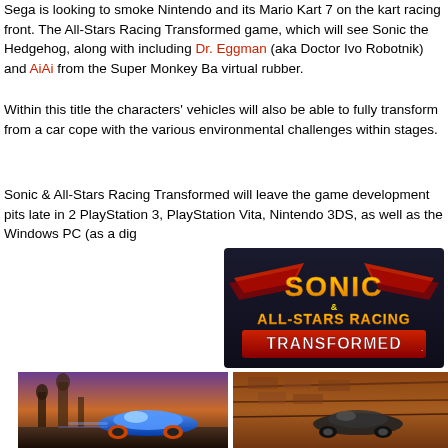Sega is looking to smoke Nintendo and its Mario Kart 7 on the kart racing front. The All-Stars Racing Transformed game, which will see Sonic the Hedgehog, along with including Dr. Eggman (aka Doctor Ivo Robotnik) and AiAi from the Super Monkey Ba... virtual rubber.
Within this title the characters' vehicles will also be able to fully transform from a car... cope with the various environmental challenges within stages.
Sonic & All-Stars Racing Transformed will leave the game development pits late in 2... PlayStation 3, PlayStation Vita, Nintendo 3DS, as well as the Windows PC (as a dig...
[Figure (logo): Sonic & All-Stars Racing Transformed game logo with gold and red lettering on dark background with wing motifs]
[Figure (screenshot): Two side-by-side screenshots of Sonic & All-Stars Racing Transformed gameplay showing a blue racing car and track environments]